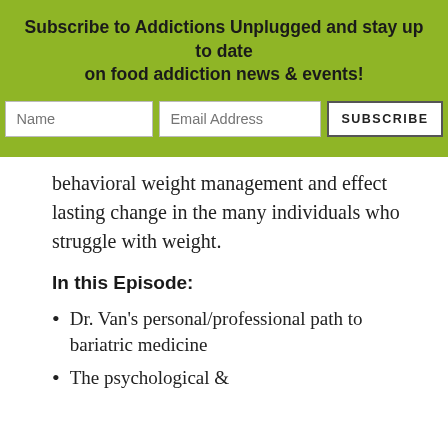Subscribe to Addictions Unplugged and stay up to date on food addiction news & events!
behavioral weight management and effect lasting change in the many individuals who struggle with weight.
In this Episode:
Dr. Van's personal/professional path to bariatric medicine
The psychological &